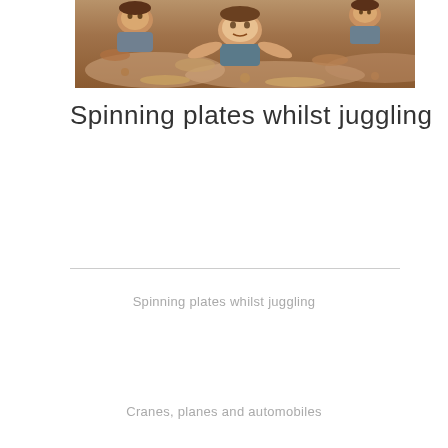[Figure (photo): People crawling through mud/dirt in what appears to be an obstacle race or military training exercise, seen from the side.]
Spinning plates whilst juggling
Spinning plates whilst juggling
Cranes, planes and automobiles